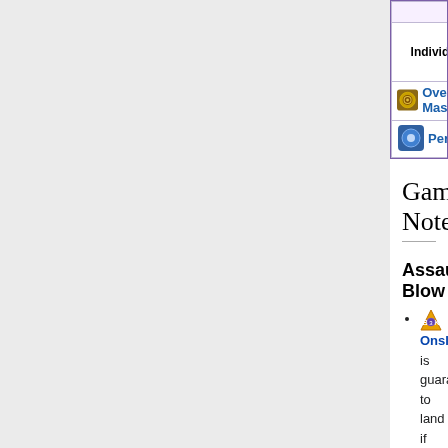|  | Individual |  |  |
| --- | --- | --- | --- |
|  | Skill DMG Cap icon | Skill DMG Cap icon | D... |
| Over Mastery icon | Over Mastery |  | icon |
|  | Permanent M... |  |  |
Gameplay Notes
Assault Blow
Onslaught is guaranteed to land if the foe does not have 100% debuff resistance.
Laughing Phantom
Salted Wound (1 time) also increases normal attack damage cap to ~1,160,000 and C.A. damage cap by 20%.[1][3]